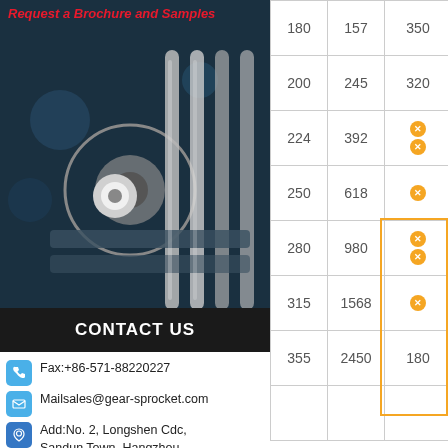[Figure (photo): Close-up photo of mechanical gear/sprocket metal parts on dark background]
Request a Brochure and Samples
CONTACT US
Fax:+86-571-88220227
Mailsales@gear-sprocket.com
Add:No. 2, Longshen Cdc, Sandun Town, Hangzhou, Zhejiang, China
|  |  |  |
| --- | --- | --- |
| 180 | 157 | 350 |
| 200 | 245 | 320 |
| 224 | 392 |  |
| 250 | 618 |  |
| 280 | 980 |  |
| 315 | 1568 |  |
| 355 | 2450 | 180 |